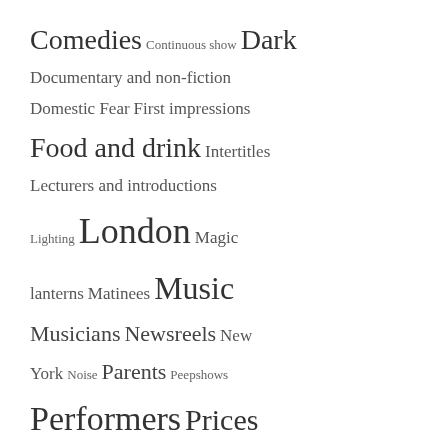Comedies Continuous show Dark Documentary and non-fiction Domestic Fear First impressions Food and drink Intertitles Lecturers and introductions Lighting London Magic lanterns Matinees Music Musicians Newsreels New York Noise Parents Peepshows Performers Prices Projection Screens Seating Serials Sex Smoking Stuff
Tag cloud / index of topics with varying font sizes indicating frequency or importance